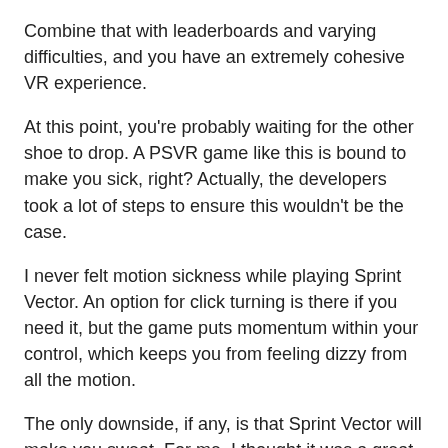Combine that with leaderboards and varying difficulties, and you have an extremely cohesive VR experience.
At this point, you're probably waiting for the other shoe to drop. A PSVR game like this is bound to make you sick, right? Actually, the developers took a lot of steps to ensure this wouldn't be the case.
I never felt motion sickness while playing Sprint Vector. An option for click turning is there if you need it, but the game puts momentum within your control, which keeps you from feeling dizzy from all the motion.
The only downside, if any, is that Sprint Vector will make you sweat. For me, I thought it was a great workout, but not many people want to sweat inside their headset, and I can respect that.
For me, the wide selection of content and the pitch-perfect controls made this easily one of the best games I've played on PlayStation VR.